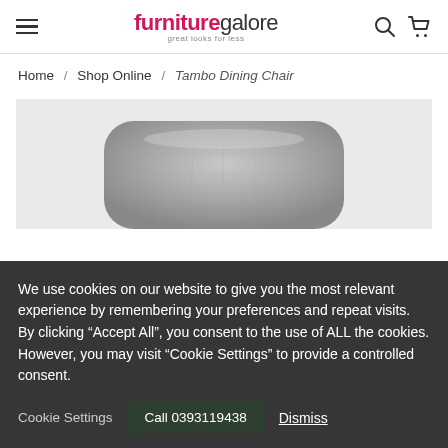furniture galore — great looks for less
Home / Shop Online / Tambo Dining Chair
[Figure (photo): Partial view of a Tambo Dining Chair seat upholstered in grey fabric, against a light grey background.]
We use cookies on our website to give you the most relevant experience by remembering your preferences and repeat visits. By clicking "Accept All", you consent to the use of ALL the cookies. However, you may visit "Cookie Settings" to provide a controlled consent.
Cookie Settings  Call 0393119438  Dismiss